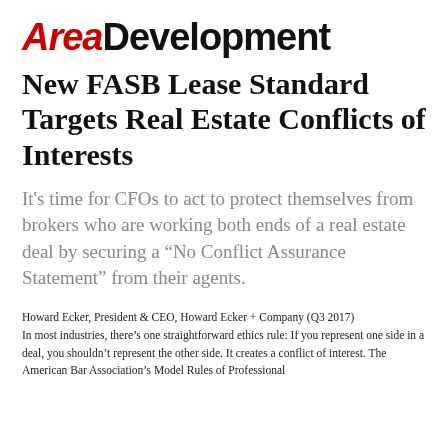[Figure (logo): Area Development magazine logo with 'AREA' in red italic and 'DEVELOPMENT' in black bold sans-serif]
New FASB Lease Standard Targets Real Estate Conflicts of Interests
It's time for CFOs to act to protect themselves from brokers who are working both ends of a real estate deal by securing a “No Conflict Assurance Statement” from their agents.
Howard Ecker, President & CEO, Howard Ecker + Company (Q3 2017)
In most industries, there’s one straightforward ethics rule: If you represent one side in a deal, you shouldn’t represent the other side. It creates a conflict of interest. The American Bar Association’s Model Rules of Professional